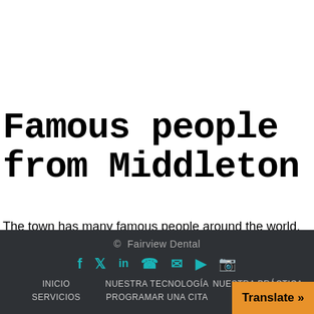Famous people from Middleton
The town has many famous people around the world, including Erik Fisher, a renowned world cup alpine ski racer, George Kennedy, an actor, among others.
© Fairview Dental
INICIO  NUESTRA TECNOLOGÍA  NUESTRA PRÁCTICA
SERVICIOS  PROGRAMAR UNA CITA  FULL...